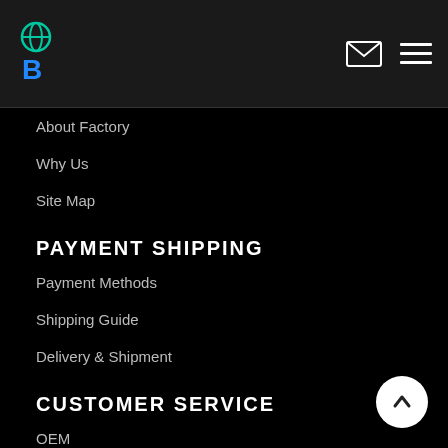Logo | Email | Menu
About Factory
Why Us
Site Map
PAYMENT SHIPPING
Payment Methods
Shipping Guide
Delivery & Shipment
CUSTOMER SERVICE
OEM
Service
Return Policy